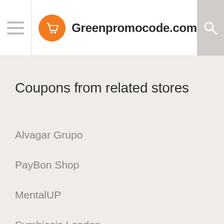Greenpromocode.com
Coupons from related stores
Alvagar Grupo
PayBon Shop
MentalUP
Symbiosis London
Ventolation Footwear